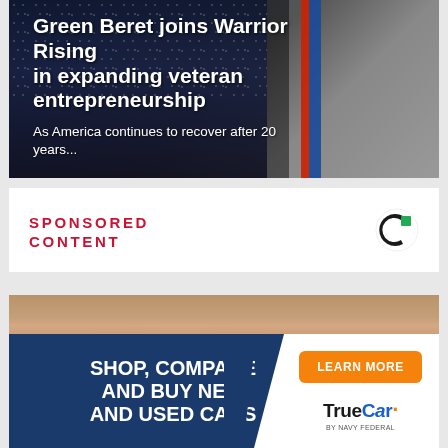[Figure (photo): Article card with American flag background and soldier silhouette, overlaid with headline text about Green Beret and Warrior Rising veteran entrepreneurship]
Green Beret joins Warrior Rising in expanding veteran entrepreneurship
As America continues to recover after 20 years...
SPONSORED CONTENT
[Figure (logo): Taboola logo - circular icon with black C shape and green square]
[Figure (photo): Close-up photo of a hand holding small white hail stones or pellets]
[Figure (infographic): TrueCar by Navy Federal advertisement banner - dark navy blue background with text: SHOP, COMPARE AND BUY NEW AND USED CARS, orange LEARN MORE button, TrueCar by Navy Federal logo on white panel]